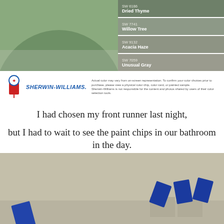[Figure (photo): Sherwin-Williams color app screenshot showing a sage green painted wall/vase scene on the left, and four color chip swatches on the right: SW 6186 Dried Thyme, SW 7741 Willow Tree, SW 9132 Acacia Haze, SW 7059 Unusual Gray]
[Figure (logo): Sherwin-Williams logo with paint can icon and italic blue SHERWIN-WILLIAMS. text]
Actual color may vary from on-screen representation. To confirm your color choices prior to purchase, please view a physical color chip, color card, or painted sample. Sherwin-Williams is not responsible for the content and photos shared by users of their color selection tools.
I had chosen my front runner last night, but I had to wait to see the paint chips in our bathroom in the day.
[Figure (photo): Photo of paint chip cards (blue) leaning against small painted sample boards in a neutral gray-beige color, staged on a light surface]